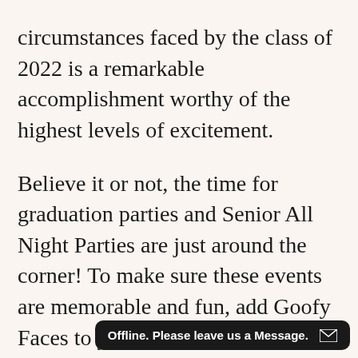circumstances faced by the class of 2022 is a remarkable accomplishment worthy of the highest levels of excitement.
Believe it or not, the time for graduation parties and Senior All Night Parties are just around the corner! To make sure these events are memorable and fun, add Goofy Faces to your guest list! Goofy Faces artists are skilled at drawing caricatures that capture the fun spirit of the party and give lasting souvenirs. When you look back on the 2022 graduation, don't you want to see the fun side of what was an otherwise challenging time? We've found that traditional acti… organized dan…
Offline. Please leave us a Message.